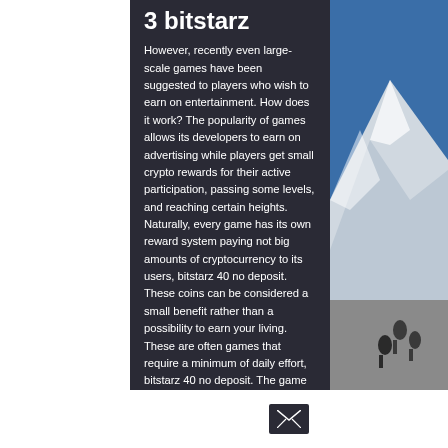3 bitstarz
However, recently even large-scale games have been suggested to players who wish to earn on entertainment. How does it work? The popularity of games allows its developers to earn on advertising while players get small crypto rewards for their active participation, passing some levels, and reaching certain heights. Naturally, every game has its own reward system paying not big amounts of cryptocurrency to its users, bitstarz 40 no deposit. These coins can be considered a small benefit rather than a possibility to earn your living. These are often games that require a minimum of daily effort, bitstarz 40 no deposit. The game also hosts public Events that further feed your lust for the money with various themed
[Figure (illustration): Right panel showing snowy mountain scene with climbers/hikers in the lower portion, blue sky at top]